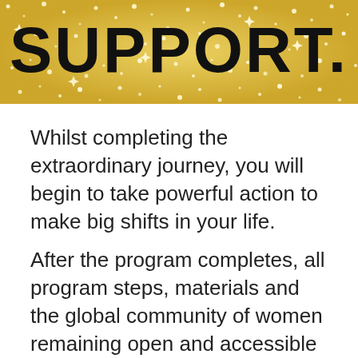[Figure (photo): Gold glitter texture banner at top of page with large bold black text partially visible reading 'SUPPORT.' or similar, cropped at top]
Whilst completing the extraordinary journey, you will begin to take powerful action to make big shifts in your life.
After the program completes, all program steps, materials and the global community of women remaining open and accessible throughout the year.